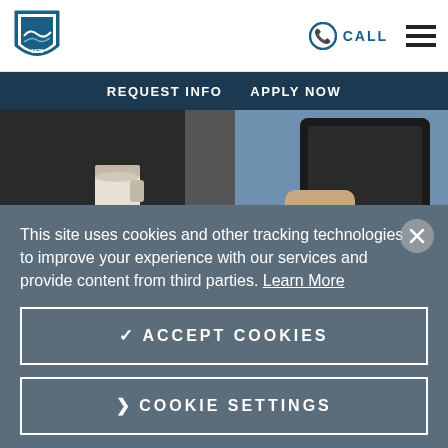[Figure (logo): University shield/crest logo, teal and white, with year 1878]
CALL  ☰
REQUEST INFO  APPLY NOW
[Figure (photo): Two people, one holding a coffee cup and the other holding a tablet, partial view of torsos]
This site uses cookies and other tracking technologies to improve your experience with our services and provide content from third parties. Learn More
✓ ACCEPT COOKIES
❯ COOKIE SETTINGS